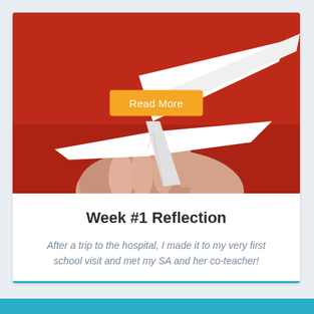[Figure (photo): Hand holding a white paper airplane against a red background, with a 'Read More' orange button overlaid in the center]
Week #1 Reflection
After a trip to the hospital, I made it to my very first school visit and met my SA and her co-teacher!